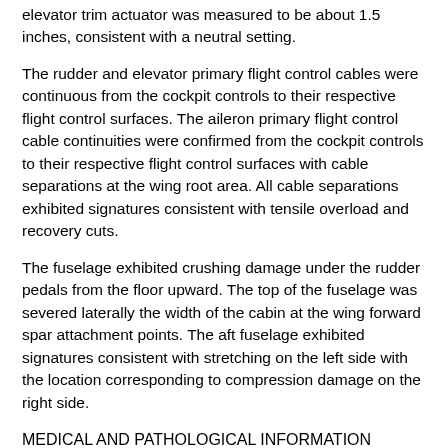elevator trim actuator was measured to be about 1.5 inches, consistent with a neutral setting.
The rudder and elevator primary flight control cables were continuous from the cockpit controls to their respective flight control surfaces. The aileron primary flight control cable continuities were confirmed from the cockpit controls to their respective flight control surfaces with cable separations at the wing root area. All cable separations exhibited signatures consistent with tensile overload and recovery cuts.
The fuselage exhibited crushing damage under the rudder pedals from the floor upward. The top of the fuselage was severed laterally the width of the cabin at the wing forward spar attachment points. The aft fuselage exhibited signatures consistent with stretching on the left side with the location corresponding to compression damage on the right side.
MEDICAL AND PATHOLOGICAL INFORMATION
The Alaska State Medical Examiner, Anchorage, Alaska, conducted an autopsy of the pilot. The cause of death for the pilot was attributed to blunt chest force causing pulmonary...